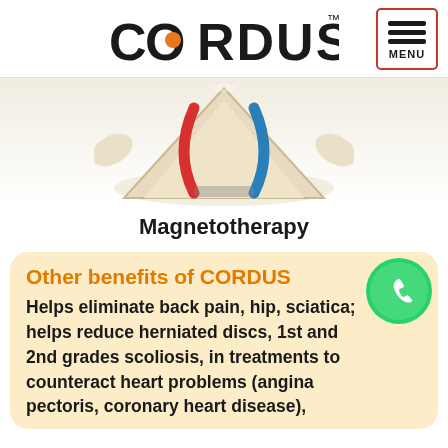CORDUS™ MENU
[Figure (photo): Product image of CORDUS device (spine therapy device shaped like a tent/pyramid with a U-shaped magnet element in red and blue colors, on a light beige background with some skeletal/bone imagery)]
Magnetotherapy
Other benefits of CORDUS
Helps eliminate back pain, hip, sciatica; helps reduce herniated discs, 1st and 2nd grades scoliosis, in treatments to counteract heart problems (angina pectoris, coronary heart disease),